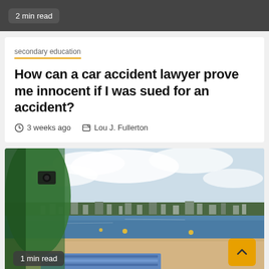2 min read
secondary education
How can a car accident lawyer prove me innocent if I was sued for an accident?
3 weeks ago  Lou J. Fullerton
[Figure (photo): A person in a green jacket photographing a beach scene. In the background, a coastal town is visible across blue water. The foreground shows sandy beach with blue-patterned fabric/towel. A yellow scroll-to-top button is overlaid in the bottom right corner.]
1 min read